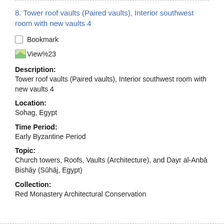8. Tower roof vaults (Paired vaults), Interior southwest room with new vaults 4
Bookmark
[Figure (other): View%23 thumbnail image icon]
Description:
Tower roof vaults (Paired vaults), Interior southwest room with new vaults 4
Location:
Sohag, Egypt
Time Period:
Early Byzantine Period
Topic:
Church towers, Roofs, Vaults (Architecture), and Dayr al-Anbā Bishāy (Sūhāj, Egypt)
Collection:
Red Monastery Architectural Conservation